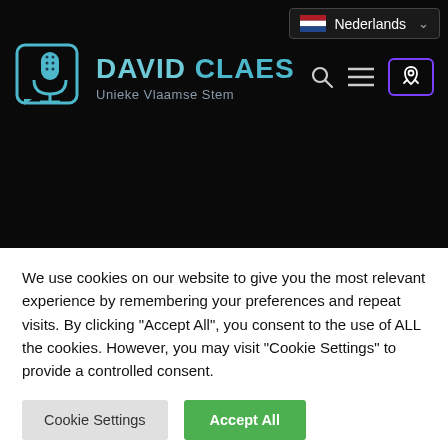[Figure (screenshot): David Claes website header with logo, language selector (Nederlands with Dutch flag), search icon, hamburger menu icon, and rocket icon in purple box on dark background.]
We use cookies on our website to give you the most relevant experience by remembering your preferences and repeat visits. By clicking "Accept All", you consent to the use of ALL the cookies. However, you may visit "Cookie Settings" to provide a controlled consent.
Cookie Settings
Accept All